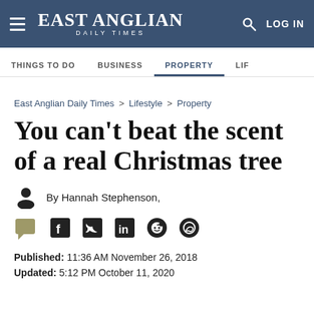EAST ANGLIAN DAILY TIMES — LOG IN
THINGS TO DO  BUSINESS  PROPERTY  LIF
East Anglian Daily Times > Lifestyle > Property
You can't beat the scent of a real Christmas tree
By Hannah Stephenson,
Published: 11:36 AM November 26, 2018
Updated: 5:12 PM October 11, 2020